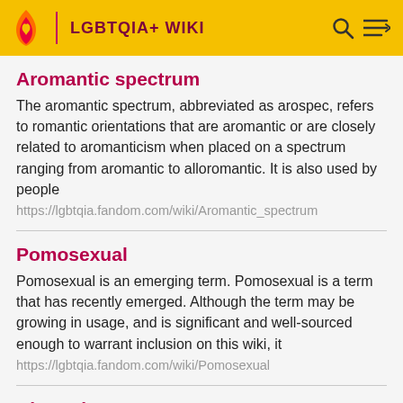LGBTQIA+ WIKI
Aromantic spectrum
The aromantic spectrum, abbreviated as arospec, refers to romantic orientations that are aromantic or are closely related to aromanticism when placed on a spectrum ranging from aromantic to alloromantic. It is also used by people
https://lgbtqia.fandom.com/wiki/Aromantic_spectrum
Pomosexual
Pomosexual is an emerging term. Pomosexual is a term that has recently emerged. Although the term may be growing in usage, and is significant and well-sourced enough to warrant inclusion on this wiki, it
https://lgbtqia.fandom.com/wiki/Pomosexual
Diamoric
Diamoric is an emerging term. Diamoric is a term that has recently